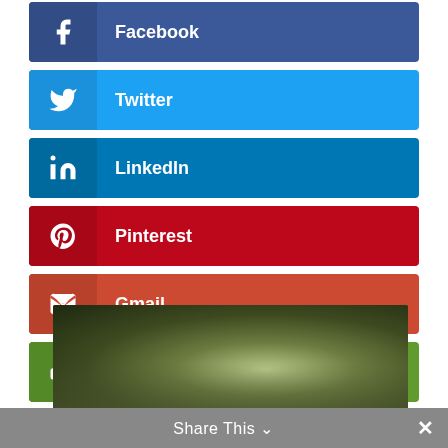Facebook
Twitter
LinkedIn
Pinterest
Gmail
Print Friendly
[Figure (photo): Dark misty forest path with light filtering through trees]
Share This ∨  ✕